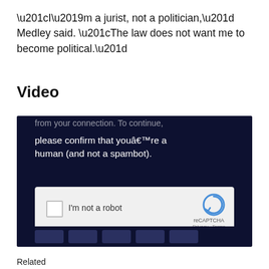“I’m a jurist, not a politician,” Medley said. “The law does not want me to become political.”
Video
[Figure (screenshot): Screenshot of a video embed blocked by a CAPTCHA verification screen on a dark navy background. The screen shows text 'please confirm that youâ€™re a human (and not a spambot).' with a reCAPTCHA widget containing a checkbox labeled 'I’m not a robot' and reCAPTCHA branding with Privacy and Terms links.]
Related